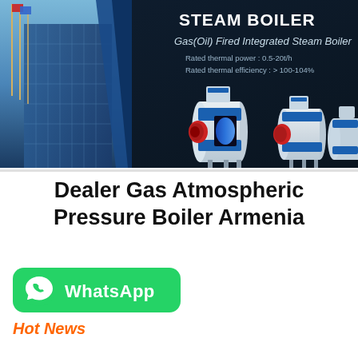[Figure (photo): Steam boiler product banner with dark navy background showing industrial gas/oil fired integrated steam boilers. Left side shows a building with flagpoles, right side shows three horizontal cylindrical steam boilers with red burner components and blue flame cutaway. Text overlay reads: STEAM BOILER, Gas(Oil) Fired Integrated Steam Boiler, Rated thermal power: 0.5-20t/h, Rated thermal efficiency: > 100-104%]
Dealer Gas Atmospheric Pressure Boiler Armenia
[Figure (logo): WhatsApp button: green rounded rectangle with WhatsApp phone icon (white phone in speech bubble) and text 'WhatsApp' in white bold font]
Hot News